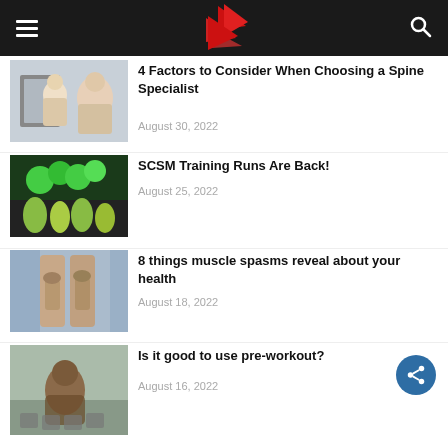[Figure (screenshot): App navigation header bar with hamburger menu, red arrow logo, and search icon on dark background]
[Figure (photo): Doctor and patient reviewing spine X-ray]
4 Factors to Consider When Choosing a Spine Specialist
August 30, 2022
[Figure (photo): Runners with green balloons at SCSM event]
SCSM Training Runs Are Back!
August 25, 2022
[Figure (photo): Person holding leg muscles, knee pain]
8 things muscle spasms reveal about your health
August 18, 2022
[Figure (photo): Man sitting cross-legged with kettlebells]
Is it good to use pre-workout?
August 16, 2022